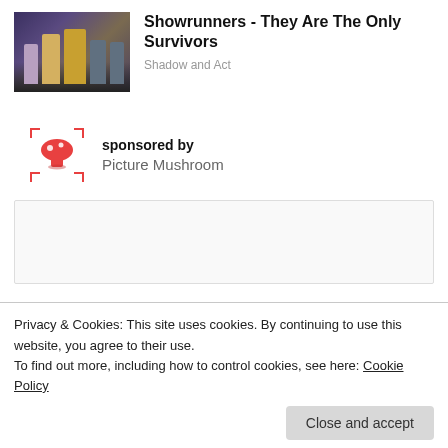[Figure (photo): Photo of costumed performers in fantasy/medieval royal costumes on a stage]
Showrunners - They Are The Only Survivors
Shadow and Act
sponsored by
[Figure (logo): Picture Mushroom app logo — red mushroom with bracket/viewfinder corners]
Picture Mushroom
[Figure (other): Empty advertisement box]
Privacy & Cookies: This site uses cookies. By continuing to use this website, you agree to their use.
To find out more, including how to control cookies, see here: Cookie Policy
Close and accept